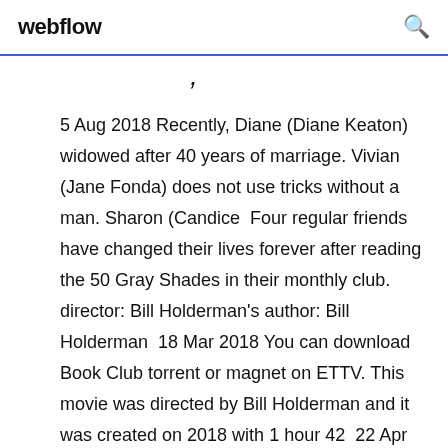webflow
,
5 Aug 2018 Recently, Diane (Diane Keaton) widowed after 40 years of marriage. Vivian (Jane Fonda) does not use tricks without a man. Sharon (Candice  Four regular friends have changed their lives forever after reading the 50 Gray Shades in their monthly club. director: Bill Holderman's author: Bill Holderman  18 Mar 2018 You can download Book Club torrent or magnet on ETTV. This movie was directed by Bill Holderman and it was created on 2018 with 1 hour 42  22 Apr 2018 Book Club 2018 full movie torrent their lives forever to read the 50 Gray Shades in the monthly book club. Download BitTorrent. Votes 38 5  7 Mar 2018 Find out if